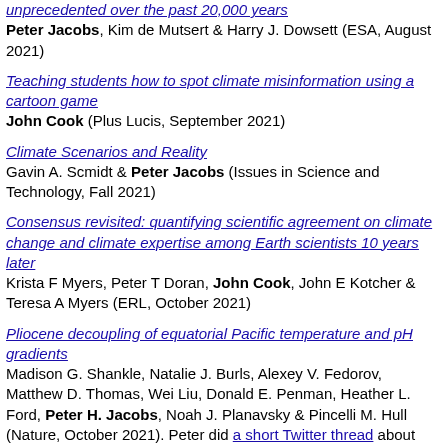unprecedented over the past 20,000 years — Peter Jacobs, Kim de Mutsert & Harry J. Dowsett (ESA, August 2021)
Teaching students how to spot climate misinformation using a cartoon game — John Cook (Plus Lucis, September 2021)
Climate Scenarios and Reality — Gavin A. Scmidt & Peter Jacobs (Issues in Science and Technology, Fall 2021)
Consensus revisited: quantifying scientific agreement on climate change and climate expertise among Earth scientists 10 years later — Krista F Myers, Peter T Doran, John Cook, John E Kotcher & Teresa A Myers (ERL, October 2021)
Pliocene decoupling of equatorial Pacific temperature and pH gradients — Madison G. Shankle, Natalie J. Burls, Alexey V. Fedorov, Matthew D. Thomas, Wei Liu, Donald E. Penman, Heather L. Ford, Peter H. Jacobs, Noah J. Planavsky & Pincelli M. Hull (Nature, October 2021). Peter did a short Twitter thread about this paper upon publication.